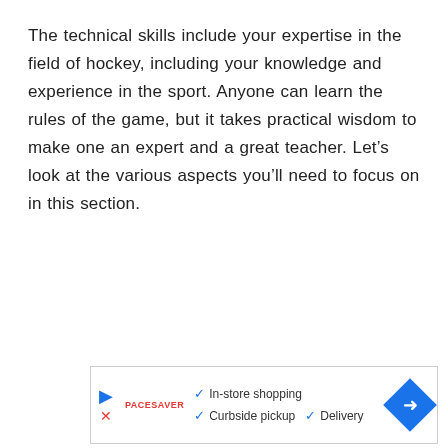The technical skills include your expertise in the field of hockey, including your knowledge and experience in the sport. Anyone can learn the rules of the game, but it takes practical wisdom to make one an expert and a great teacher. Let’s look at the various aspects you’ll need to focus on in this section.
[Figure (other): Advertisement banner with a play button icon, a red brand name, checkmarks listing In-store shopping, Curbside pickup, and Delivery, and a blue diamond-shaped arrow icon on the right.]